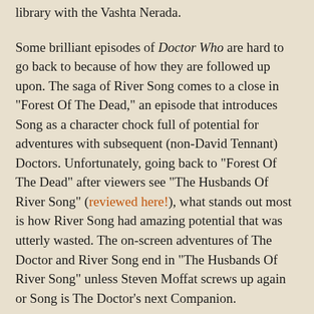library with the Vashta Nerada.
Some brilliant episodes of Doctor Who are hard to go back to because of how they are followed up upon. The saga of River Song comes to a close in "Forest Of The Dead," an episode that introduces Song as a character chock full of potential for adventures with subsequent (non-David Tennant) Doctors. Unfortunately, going back to "Forest Of The Dead" after viewers see "The Husbands Of River Song" (reviewed here!), what stands out most is how River Song had amazing potential that was utterly wasted. The on-screen adventures of The Doctor and River Song end in "The Husbands Of River Song" unless Steven Moffat screws up again or Song is The Doctor's next Companion.
"Forest Of The Dead" is a direct sequel to "Silence In The Library" (reviewed here!) and it is impossible to discuss the episode without allusions to where the prior episode ended. After all, "Silence In The Library" was a cliffhanger and it left The Doctor and River Song in a remarkably perilous position. Donna Noble was lost while teleporting into the